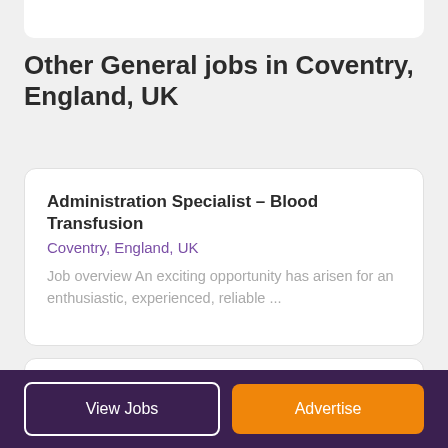Other General jobs in Coventry, England, UK
Administration Specialist – Blood Transfusion
Coventry, England, UK
Job overview An exciting opportunity has arisen for an enthusiastic, experienced, reliable ...
Production Operative – Quality
Coventry, England, UK
Due to a huge increase in orders, a renowned first tier manufacturer of automotive parts sold glo...
View Jobs | Advertise